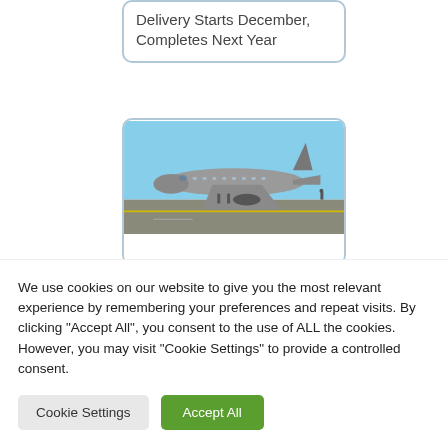Delivery Starts December, Completes Next Year
[Figure (photo): A gray commercial aircraft (Airbus A220 or similar) parked on a tarmac runway on a clear day, viewed from the front-left angle.]
We use cookies on our website to give you the most relevant experience by remembering your preferences and repeat visits. By clicking "Accept All", you consent to the use of ALL the cookies. However, you may visit "Cookie Settings" to provide a controlled consent.